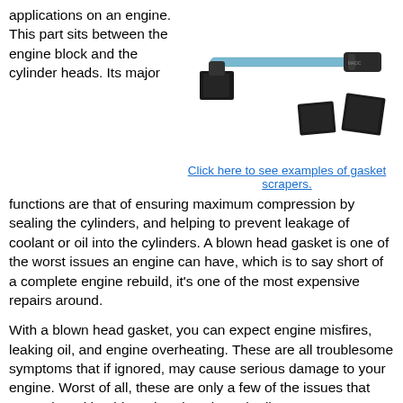applications on an engine. This part sits between the engine block and the cylinder heads. Its major
[Figure (photo): A gasket scraper tool with a long metal handle and black rubber blade pads, shown disassembled with the blade pieces laid out next to the tool.]
Click here to see examples of gasket scrapers.
functions are that of ensuring maximum compression by sealing the cylinders, and helping to prevent leakage of coolant or oil into the cylinders. A blown head gasket is one of the worst issues an engine can have, which is to say short of a complete engine rebuild, it's one of the most expensive repairs around.
With a blown head gasket, you can expect engine misfires, leaking oil, and engine overheating. These are all troublesome symptoms that if ignored, may cause serious damage to your engine. Worst of all, these are only a few of the issues that may arise with a blown head gasket. The list goes on.
Unfortunately, head gasket replacement is typically a pretty difficult job. Taking your car to a local mechanic for such an issue